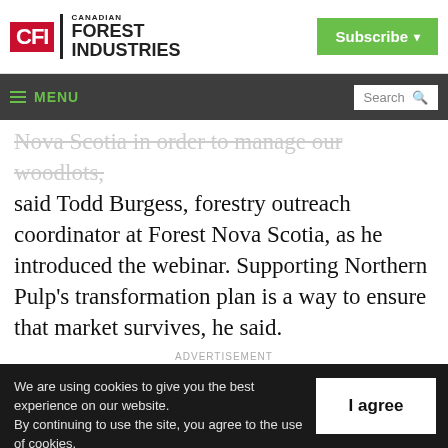[Figure (logo): Canadian Forest Industries logo with red CFI box and black text, plus green Subscribe button]
≡ MENU   Search
Nova Scotia in order to manage our woodlots, said Todd Burgess, forestry outreach coordinator at Forest Nova Scotia, as he introduced the webinar. Supporting Northern Pulp's transformation plan is a way to ensure that market survives, he said.
ADVERTISEMENT
We are using cookies to give you the best experience on our website. By continuing to use the site, you agree to the use of cookies. To find out more, read our privacy policy.